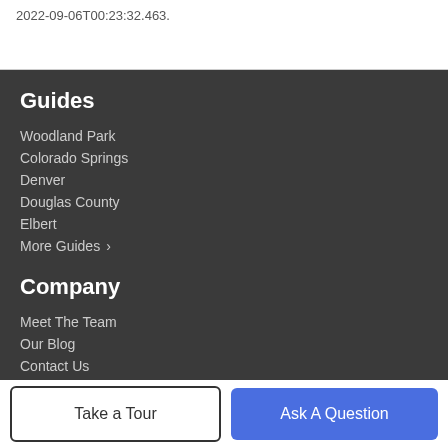2022-09-06T00:23:32.463.
Guides
Woodland Park
Colorado Springs
Denver
Douglas County
Elbert
More Guides >
Company
Meet The Team
Our Blog
Contact Us
Take a Tour
Ask A Question